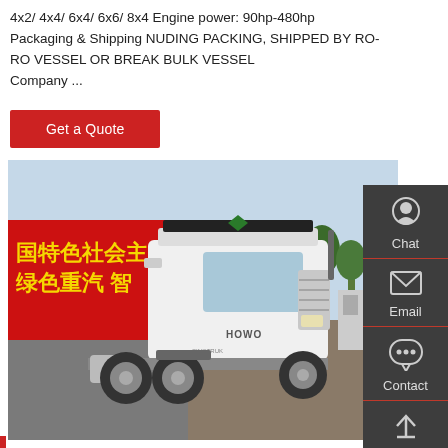4x2/ 4x4/ 6x4/ 6x6/ 8x4 Engine power: 90hp-480hp Packaging & Shipping NUDING PACKING, SHIPPED BY RO-RO VESSEL OR BREAK BULK VESSEL Company ...
Get a Quote
[Figure (photo): White HOWO tractor truck parked outdoors with a red banner showing Chinese text in the background.]
[Figure (infographic): Gray sidebar with Chat, Email, Contact, and Top navigation icons]